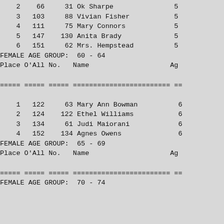| Place | O'All | No. | Name | Ag |
| --- | --- | --- | --- | --- |
| 2 | 66 | 31 | Ok Sharpe | 5 |
| 3 | 103 | 88 | Vivian Fisher | 5 |
| 4 | 111 | 75 | Mary Connors | 5 |
| 5 | 147 | 130 | Anita Brady | 5 |
| 6 | 151 | 62 | Mrs. Hempstead | 5 |
FEMALE AGE GROUP:  60 - 64
| Place | O'All | No. | Name | Ag |
| --- | --- | --- | --- | --- |
| 1 | 122 | 63 | Mary Ann Bowman | 6 |
| 2 | 124 | 122 | Ethel Williams | 6 |
| 3 | 134 | 61 | Judi Maiorani | 6 |
| 4 | 152 | 134 | Agnes Owens | 6 |
FEMALE AGE GROUP:  65 - 69
| Place | O'All | No. | Name | Ag |
| --- | --- | --- | --- | --- |
FEMALE AGE GROUP:  70 - 74